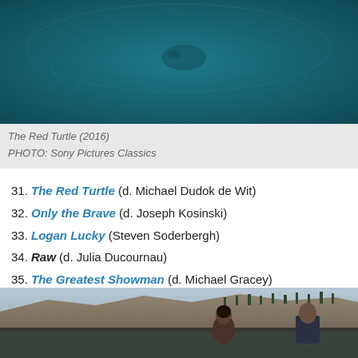[Figure (photo): Still from The Red Turtle (2016) — animated scene with dark teal/green tones]
The Red Turtle (2016)
PHOTO: Sony Pictures Classics
31. The Red Turtle (d. Michael Dudok de Wit)
32. Only the Brave (d. Joseph Kosinski)
33. Logan Lucky (Steven Soderbergh)
34. Raw (d. Julia Ducournau)
35. The Greatest Showman (d. Michael Gracey)
[Figure (photo): Outdoor scene with two people facing each other against a backdrop of rocky cliffs and trees]